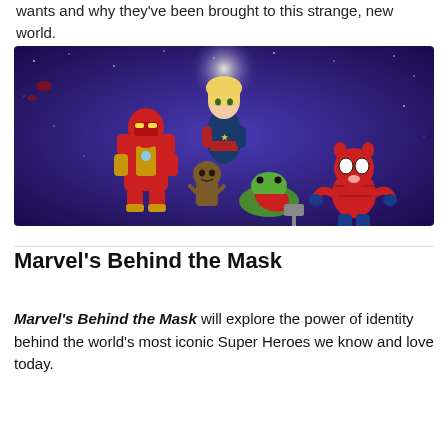wants and why they've been brought to this strange, new world.
[Figure (illustration): Chibi-style cartoon illustration of Marvel superheroes including Captain Marvel (floating above, glowing), Iron Man (left, red and gold armor), Groot (small, wooden, center-left), Frog-Thor (green frog with hammer, center), and Spider-Ham (red pig in spider suit, right). Purple/blue starry space background.]
Marvel's Behind the Mask
Marvel's Behind the Mask will explore the power of identity behind the world's most iconic Super Heroes we know and love today.